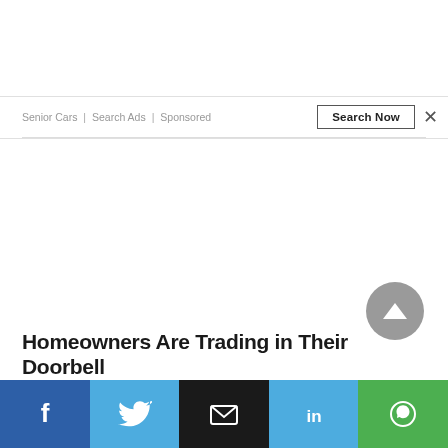Senior Cars | Search Ads | Sponsored
Homeowners Are Trading in Their Doorbell
[Figure (other): Social share bar with Facebook, Twitter, Email, LinkedIn, WhatsApp icons]